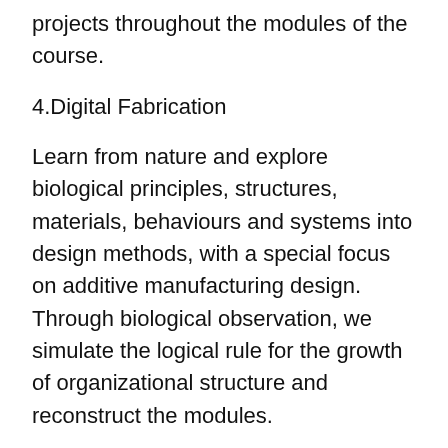projects throughout the modules of the course.
4.Digital Fabrication
Learn from nature and explore biological principles, structures, materials, behaviours and systems into design methods, with a special focus on additive manufacturing design. Through biological observation, we simulate the logical rule for the growth of organizational structure and reconstruct the modules.
5. Alternative Future